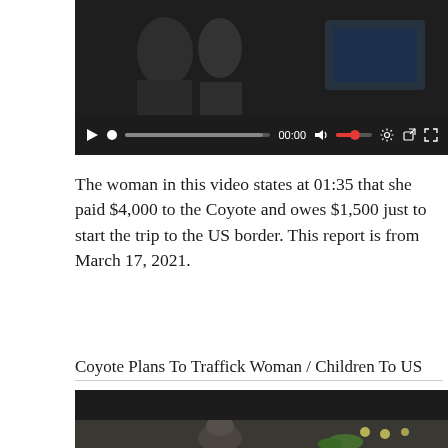[Figure (screenshot): Video player showing a paused video with dark background and playback controls including play button, progress bar showing 00:00, volume control with red slider, settings gear icon, share/external link icon, and fullscreen icon.]
The woman in this video states at 01:35 that she paid $4,000 to the Coyote and owes $1,500 just to start the trip to the US border. This report is from March 17, 2021.
Coyote Plans To Traffick Woman / Children To US
[Figure (screenshot): Video player showing a video with dark upper portion and lower portion showing a person seated at a table with lights and plants visible.]